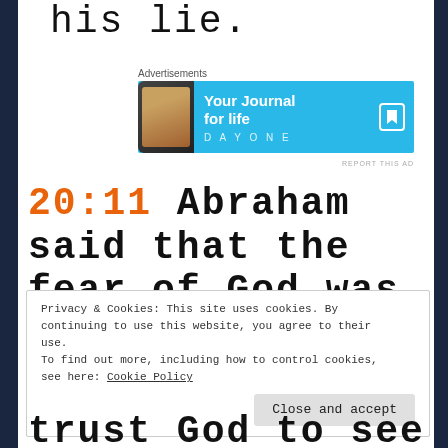his lie.
[Figure (screenshot): Advertisement banner for DayOne journal app: 'Your Journal for life' on a cyan/blue background with phone graphic and bookmark icon]
20:11  Abraham said that the fear of God was not
Privacy & Cookies: This site uses cookies. By continuing to use this website, you agree to their use.
To find out more, including how to control cookies, see here: Cookie Policy
[Close and accept]
trust  God  to  see  him